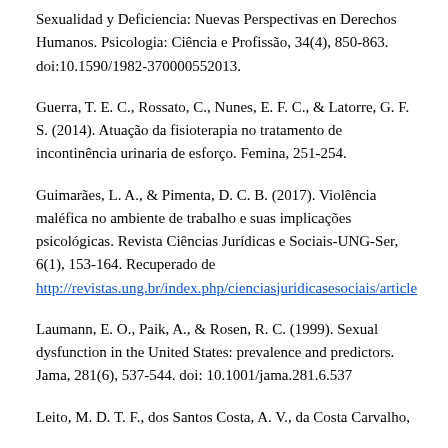Sexualidad y Deficiencia: Nuevas Perspectivas en Derechos Humanos. Psicologia: Ciência e Profissão, 34(4), 850-863. doi:10.1590/1982-370000552013.
Guerra, T. E. C., Rossato, C., Nunes, E. F. C., & Latorre, G. F. S. (2014). Atuação da fisioterapia no tratamento de incontinência urinaria de esforço. Femina, 251-254.
Guimarães, L. A., & Pimenta, D. C. B. (2017). Violência maléfica no ambiente de trabalho e suas implicações psicológicas. Revista Ciências Jurídicas e Sociais-UNG-Ser, 6(1), 153-164. Recuperado de http://revistas.ung.br/index.php/cienciasjuridicasesociais/article
Laumann, E. O., Paik, A., & Rosen, R. C. (1999). Sexual dysfunction in the United States: prevalence and predictors. Jama, 281(6), 537-544. doi: 10.1001/jama.281.6.537
Leito, M. D. T. F., dos Santos Costa, A. V., da Costa Carvalho,